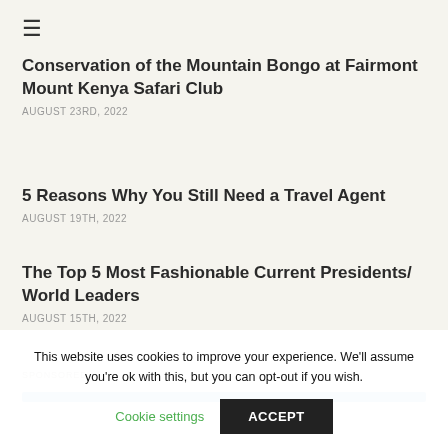≡
Conservation of the Mountain Bongo at Fairmont Mount Kenya Safari Club
AUGUST 23RD, 2022
5 Reasons Why You Still Need a Travel Agent
AUGUST 19TH, 2022
The Top 5 Most Fashionable Current Presidents/ World Leaders
AUGUST 15TH, 2022
SPONSORED
[Figure (other): Sponsored advertisement bar (partial, blue horizontal band)]
This website uses cookies to improve your experience. We'll assume you're ok with this, but you can opt-out if you wish.
Cookie settings   ACCEPT